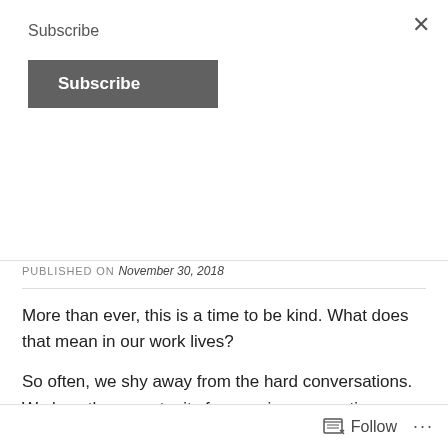Subscribe
Subscribe
Clear is Kind
PUBLISHED ON November 30, 2018
More than ever, this is a time to be kind. What does that mean in our work lives?
So often, we shy away from the hard conversations. We lose the opportunity for genuine connection because we are trying to be polite or gentle, or just because
Follow